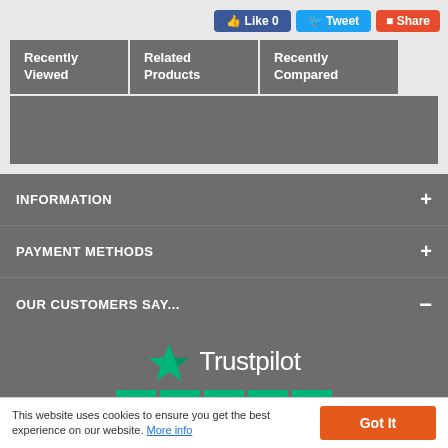[Figure (screenshot): Social share buttons: Like 0 (Facebook), Tweet (Twitter), Share (Pinterest/red)]
Recently Viewed
Related Products
Recently Compared
INFORMATION
PAYMENT METHODS
OUR CUSTOMERS SAY...
[Figure (logo): Trustpilot logo with green star and five green star rating boxes]
This website uses cookies to ensure you get the best experience on our website. More info
Got It